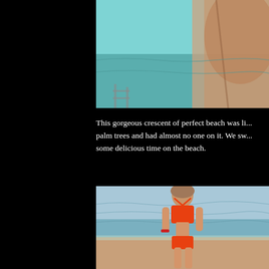[Figure (photo): Top portion of a photo showing a person near a pool or water, with turquoise water and skin visible, cropped at top of page]
This gorgeous crescent of perfect beach was li... palm trees and had almost no one on it. We sw... some delicious time on the beach.
[Figure (photo): Woman in an orange bikini walking on a beach with ocean water in the background]